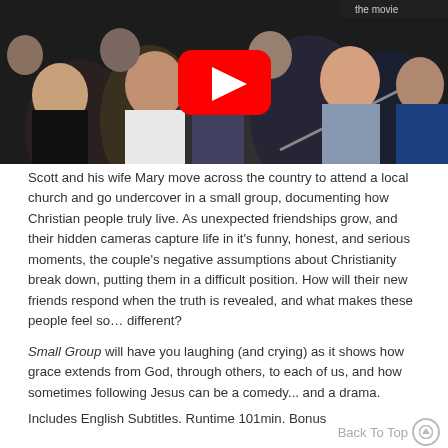[Figure (screenshot): YouTube video thumbnail showing a group of people taking a selfie, with a red YouTube play button overlay in the center. Partial text visible in top right corner reading 'the movie'.]
Scott and his wife Mary move across the country to attend a local church and go undercover in a small group, documenting how Christian people truly live. As unexpected friendships grow, and their hidden cameras capture life in it's funny, honest, and serious moments, the couple's negative assumptions about Christianity break down, putting them in a difficult position. How will their new friends respond when the truth is revealed, and what makes these people feel so… different?
Small Group will have you laughing (and crying) as it shows how grace extends from God, through others, to each of us, and how sometimes following Jesus can be a comedy... and a drama.
Includes English Subtitles. Runtime 101min. Bonus